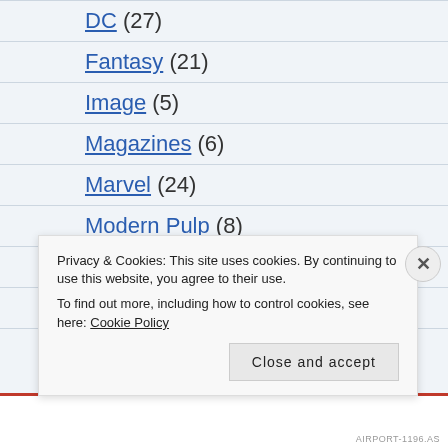DC (27)
Fantasy (21)
Image (5)
Magazines (6)
Marvel (24)
Modern Pulp (8)
Music (1)
Mystery (49)
Novels (312)
Privacy & Cookies: This site uses cookies. By continuing to use this website, you agree to their use. To find out more, including how to control cookies, see here: Cookie Policy
AIRPORT-1196.AS